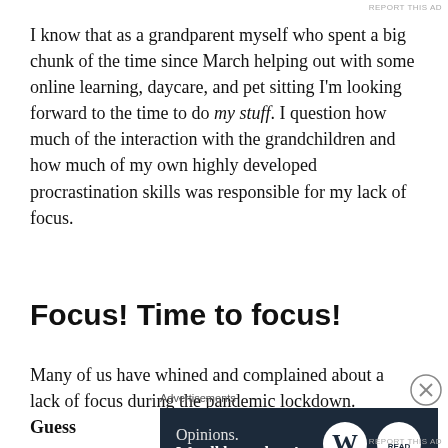I know that as a grandparent myself who spent a big chunk of the time since March helping out with some online learning, daycare, and pet sitting I'm looking forward to the time to do my stuff. I question how much of the interaction with the grandchildren and how much of my own highly developed procrastination skills was responsible for my lack of focus.
Focus! Time to focus!
Many of us have whined and complained about a lack of focus during the pandemic lockdown.  Guess
Advertisements
[Figure (other): Advertisement banner with dark navy background. Left side shows text: 'Opinions.' on first line, 'We all have them!' in bold on second line. Right side shows WordPress logo (W in circle) and another circular logo.]